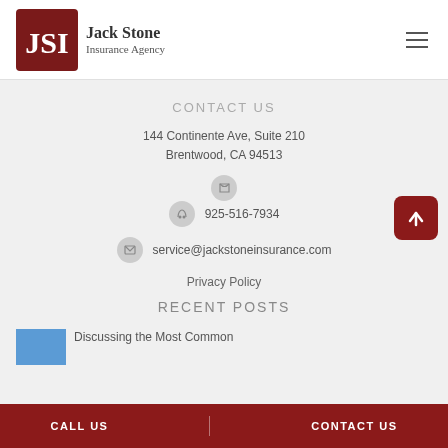[Figure (logo): Jack Stone Insurance Agency logo with JSI monogram in dark red square and company name to the right]
CONTACT US
144 Continente Ave, Suite 210
Brentwood, CA 94513
925-516-7934
service@jackstoneinsurance.com
Privacy Policy
RECENT POSTS
Discussing the Most Common
CALL US   |   CONTACT US